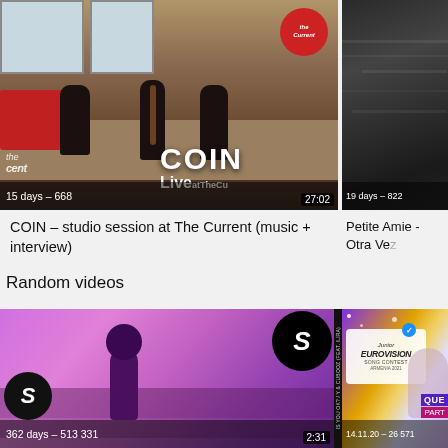[Figure (screenshot): COIN live studio session at The Current, band playing instruments, red The Current badge top right, overlay text: COIN Live at TheCu, timestamp 27:02, stats: 15 days – 668]
[Figure (screenshot): Dark grayscale thumbnail, clouds or water texture, stats: 19 days – 822]
COIN – studio session at The Current (music + interview)
Petite Amie - Otra Ve
Random videos
[Figure (screenshot): Purple/pink gradient music video thumbnail with female silhouette, Spinnin Records S logo top right and bottom left, stats: 362 days – 513 331, duration 2:31]
[Figure (screenshot): Junior Eurovision Song Contest overlay on colorful background, blue verified checkmark, text: QUE, PART, stats: 14.11.20 – 26 571]